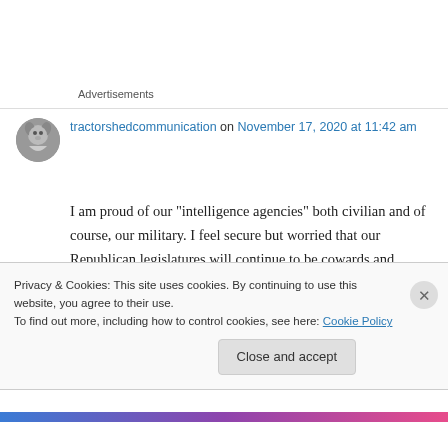Advertisements
tractorshedcommunication on November 17, 2020 at 11:42 am
I am proud of our “intelligence agencies” both civilian and of course, our military. I feel secure but worried that our Republican legislatures will continue to be cowards and traitors. I will never
Privacy & Cookies: This site uses cookies. By continuing to use this website, you agree to their use.
To find out more, including how to control cookies, see here: Cookie Policy
Close and accept